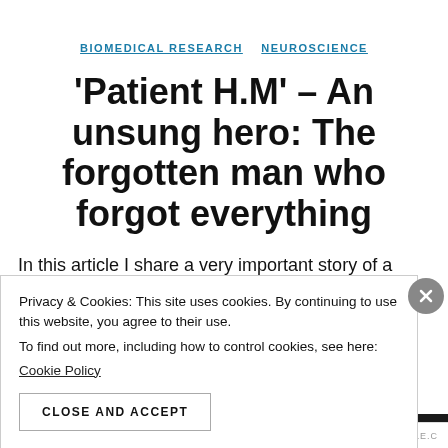BIOMEDICAL RESEARCH   NEUROSCIENCE
'Patient H.M' – An unsung hero: The forgotten man who forgot everything
In this article I share a very important story of a man
Privacy & Cookies: This site uses cookies. By continuing to use this website, you agree to their use.
To find out more, including how to control cookies, see here:
Cookie Policy
CLOSE AND ACCEPT